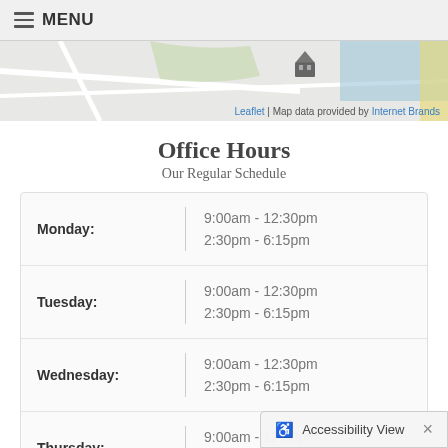≡ MENU
[Figure (map): Partial map view with street/area features and a building icon. Caption: Leaflet | Map data provided by Internet Brands]
Office Hours
Our Regular Schedule
| Day | Hours |
| --- | --- |
| Monday: | 9:00am - 12:30pm
2:30pm - 6:15pm |
| Tuesday: | 9:00am - 12:30pm
2:30pm - 6:15pm |
| Wednesday: | 9:00am - 12:30pm
2:30pm - 6:15pm |
| Thursday: | 9:00am - 12:30pm
2:30pm - 6:15pm |
| Friday: |  |
♿ Accessibility View  ×